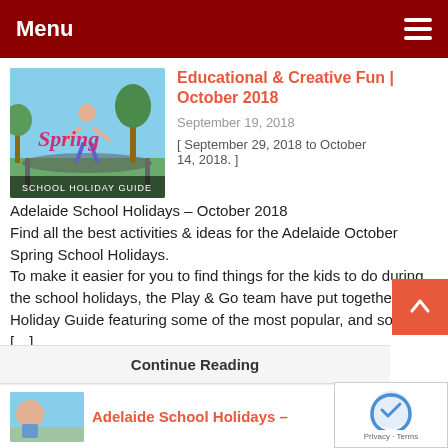Menu
[Figure (photo): Spring School Holiday Guide image showing a child on a trampoline outdoors with text 'Spring' in pink and 'SCHOOL HOLIDAY GUIDE' at the bottom]
Educational & Creative Fun | October 2018
September 19, 2018
[ September 29, 2018 to October 14, 2018. ]
Adelaide School Holidays – October 2018
Find all the best activities & ideas for the Adelaide October Spring School Holidays.
To make it easier for you to find things for the kids to do during the school holidays, the Play & Go team have put together our Holiday Guide featuring some of the most popular, and some […]
Continue Reading
[Figure (photo): Thumbnail image for Adelaide School Holidays article]
Adelaide School Holidays –